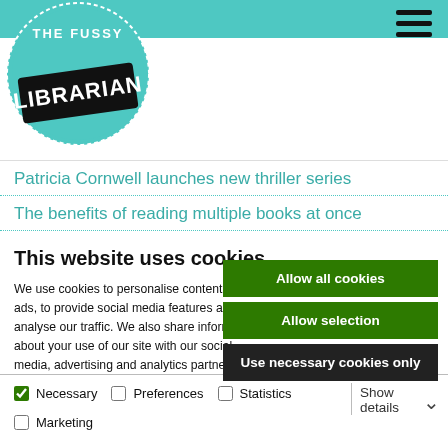[Figure (logo): The Fussy Librarian circular logo with teal background and white text]
Patricia Cornwell launches new thriller series
The benefits of reading multiple books at once
This website uses cookies
We use cookies to personalise content and ads, to provide social media features and to analyse our traffic. We also share information about your use of our site with our social media, advertising and analytics partners who may combine it with other information that you've provided to them or that they've collected from your use of their services.
Allow all cookies
Allow selection
Use necessary cookies only
Necessary  Preferences  Statistics  Marketing  Show details